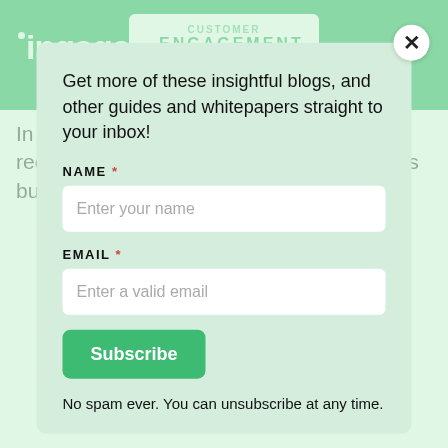ingage | CUSTOMER ENGAGEMENT SCORE
In this category, the product recommendations are items that customers buy frequently together with those items
[Figure (screenshot): Email subscription modal popup with light green background. Contains fields for NAME and EMAIL with placeholder text, a Subscribe button, and a 'No spam ever. You can unsubscribe at any time.' note. Has a close (X) button in the top right corner.]